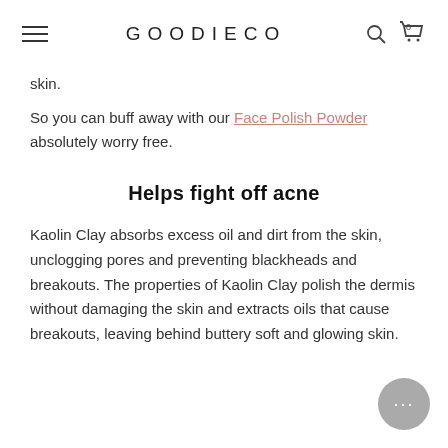GOODIECO
skin.
So you can buff away with our Face Polish Powder absolutely worry free.
Helps fight off acne
Kaolin Clay absorbs excess oil and dirt from the skin, unclogging pores and preventing blackheads and breakouts. The properties of Kaolin Clay polish the dermis without damaging the skin and extracts oils that cause breakouts, leaving behind buttery soft and glowing skin.